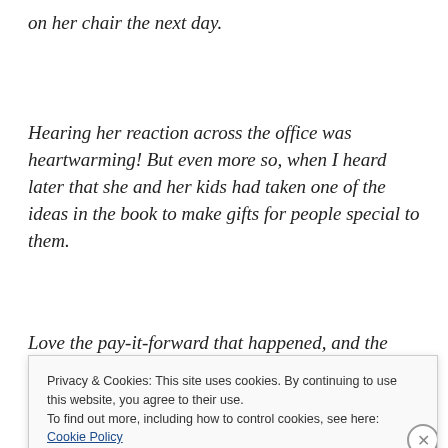on her chair the next day.
Hearing her reaction across the office was heartwarming! But even more so, when I heard later that she and her kids had taken one of the ideas in the book to make gifts for people special to them.
Love the pay-it-forward that happened, and the extra
Privacy & Cookies: This site uses cookies. By continuing to use this website, you agree to their use.
To find out more, including how to control cookies, see here: Cookie Policy
Close and accept